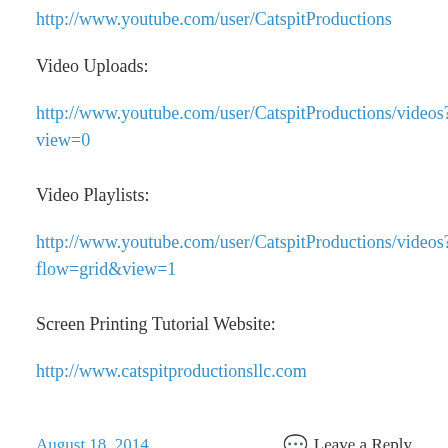http://www.youtube.com/user/CatspitProductions
Video Uploads:
http://www.youtube.com/user/CatspitProductions/videos?view=0
Video Playlists:
http://www.youtube.com/user/CatspitProductions/videos?flow=grid&view=1
Screen Printing Tutorial Website:
http://www.catspitproductionsllc.com
August 18, 2014   Leave a Reply
Screen printing T-Shirt...